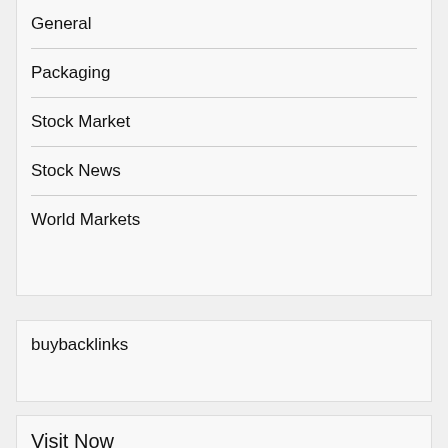General
Packaging
Stock Market
Stock News
World Markets
buybacklinks
Visit Now